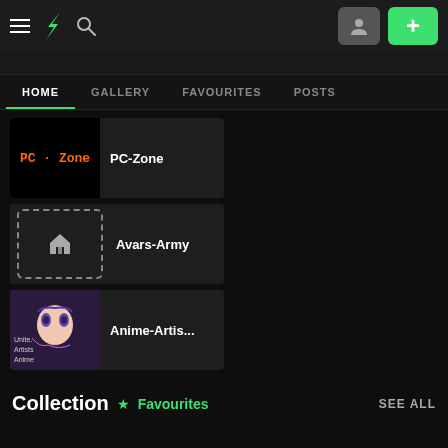DeviantArt navigation bar with hamburger menu, DA logo, search icon, user button, and + add button
HOME | GALLERY | FAVOURITES | POSTS
PC-Zone
Avars-Army
Anime-Artis...
Collection ★ Favourites SEE ALL